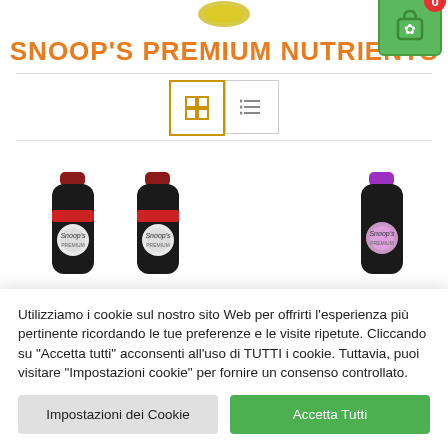[Figure (logo): Partial logo at top center]
SNOOP'S PREMIUM NUTRIENTS
[Figure (illustration): Shopping cart icon with cannabis leaf, badge showing 0]
[Figure (other): Grid view and list view toggle buttons]
[Figure (photo): Three dark Snoop's Premium Nutrients bottles with red and purple caps]
Utilizziamo i cookie sul nostro sito Web per offrirti l'esperienza più pertinente ricordando le tue preferenze e le visite ripetute. Cliccando su "Accetta tutti" acconsenti all'uso di TUTTI i cookie. Tuttavia, puoi visitare "Impostazioni cookie" per fornire un consenso controllato.
Impostazioni dei Cookie
Accetta Tutti